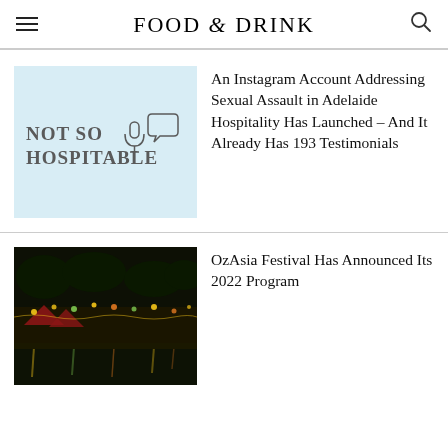FOOD & DRINK
[Figure (illustration): Not So Hospitable Instagram account logo on light blue background with microphone and speech bubble icons]
An Instagram Account Addressing Sexual Assault in Adelaide Hospitality Has Launched – And It Already Has 193 Testimonials
[Figure (photo): Night photo of OzAsia Festival outdoor event with colourful lights reflected on water]
OzAsia Festival Has Announced Its 2022 Program